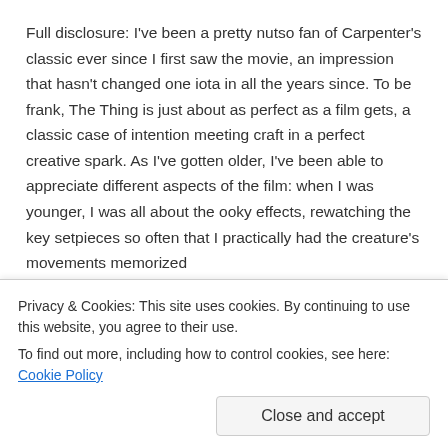Full disclosure: I've been a pretty nutso fan of Carpenter's classic ever since I first saw the movie, an impression that hasn't changed one iota in all the years since. To be frank, The Thing is just about as perfect as a film gets, a classic case of intention meeting craft in a perfect creative spark. As I've gotten older, I've been able to appreciate different aspects of the film: when I was younger, I was all about the ooky effects, rewatching the key setpieces so often that I practically had the creature's movements memorized
Privacy & Cookies: This site uses cookies. By continuing to use this website, you agree to their use.
To find out more, including how to control cookies, see here: Cookie Policy
Close and accept
ensemble cast. I still dig the ever-lovin' shit out of the